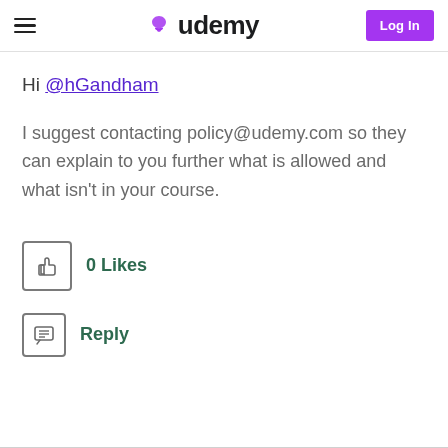Udemy — Log In
Hi @hGandham
I suggest contacting policy@udemy.com so they can explain to you further what is allowed and what isn't in your course.
0 Likes
Reply